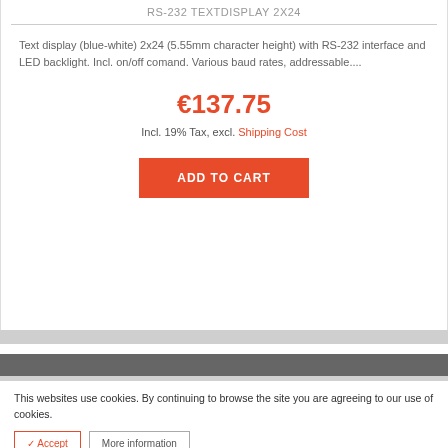RS-232 TEXTDISPLAY 2X24
Text display (blue-white) 2x24 (5.55mm character height) with RS-232 interface and LED backlight. Incl. on/off comand. Various baud rates, addressable....
€137.75
Incl. 19% Tax, excl. Shipping Cost
ADD TO CART
This websites use cookies. By continuing to browse the site you are agreeing to our use of cookies.
✓ Accept
More information